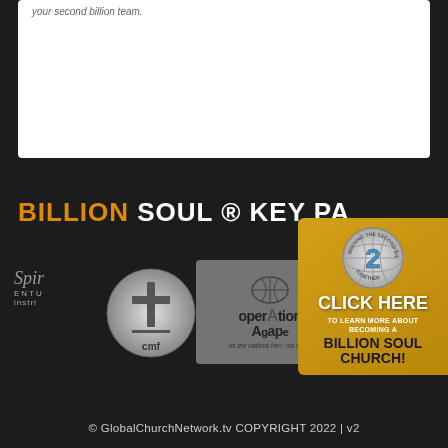[Figure (other): White content box at top of page]
BILLION SOUL ® KEY PA
[Figure (logo): Spirit Ventures Ministries logo text on dark background]
[Figure (logo): CMF circular cross logo in grayscale]
[Figure (logo): Operation Agape logo with globe and text 'let the nations hear his voice']
[Figure (infographic): Gold box with globe/2 icon, CLICK HERE TO LEARN MORE ABOUT BECOMING A BILLION SOUL CHURCH!]
© GlobalChurchNetwork.tv COPYRIGHT 2022 | v2